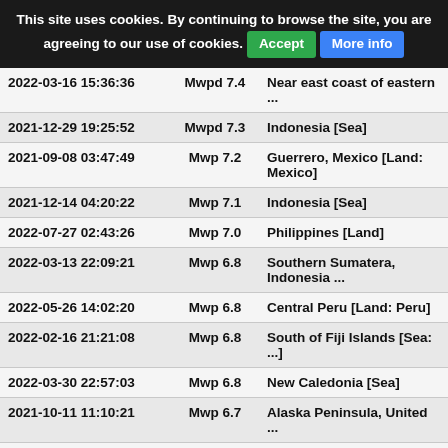This site uses cookies. By continuing to browse the site, you are agreeing to our use of cookies. Accept More info
| Date/Time | Type | Location |
| --- | --- | --- |
| 2022-03-16 15:36:36 | Mwpd 7.4 | Near east coast of eastern ... |
| 2021-12-29 19:25:52 | Mwpd 7.3 | Indonesia [Sea] |
| 2021-09-08 03:47:49 | Mwp 7.2 | Guerrero, Mexico [Land: Mexico] |
| 2021-12-14 04:20:22 | Mwp 7.1 | Indonesia [Sea] |
| 2022-07-27 02:43:26 | Mwp 7.0 | Philippines [Land] |
| 2022-03-13 22:09:21 | Mwp 6.8 | Southern Sumatera, Indonesia ... |
| 2022-05-26 14:02:20 | Mwp 6.8 | Central Peru [Land: Peru] |
| 2022-02-16 21:21:08 | Mwp 6.8 | South of Fiji Islands [Sea: ...] |
| 2022-03-30 22:57:03 | Mwp 6.8 | New Caledonia [Sea] |
| 2021-10-11 11:10:21 | Mwp 6.7 | Alaska Peninsula, United ... |
| 2022-05-26 17:38:07 | Mwp 6.7 | New Caledonia [Sea] |